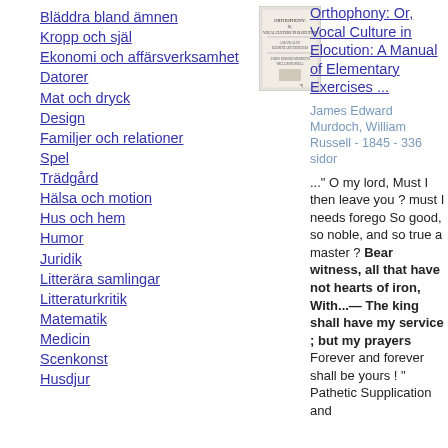Bläddra bland ämnen
Kropp och själ
Ekonomi och affärsverksamhet
Datorer
Mat och dryck
Design
Familjer och relationer
Spel
Trädgård
Hälsa och motion
Hus och hem
Humor
Juridik
Litterära samlingar
Litteraturkritik
Matematik
Medicin
Scenkonst
Husdjur
[Figure (photo): Book cover of Orthophony: Or, Vocal Culture in Elocution]
Orthophony: Or, Vocal Culture in Elocution: A Manual of Elementary Exercises ...
James Edward Murdoch, William Russell - 1845 - 336 sidor
..." O my lord, Must I then leave you ? must I needs forego So good, so noble, and so true a master ? Bear witness, all that have not hearts of iron, With...— The king shall have my service ; but my prayers Forever and forever shall be yours ! " Pathetic Supplication and